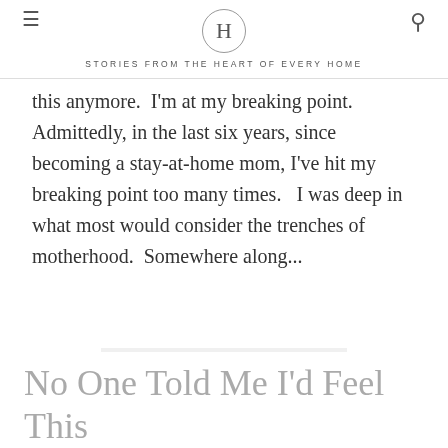H — STORIES FROM THE HEART OF EVERY HOME
this anymore.  I'm at my breaking point. Admittedly, in the last six years, since becoming a stay-at-home mom, I've hit my breaking point too many times.   I was deep in what most would consider the trenches of motherhood.  Somewhere along...
KEEP READING
No One Told Me I'd Feel This